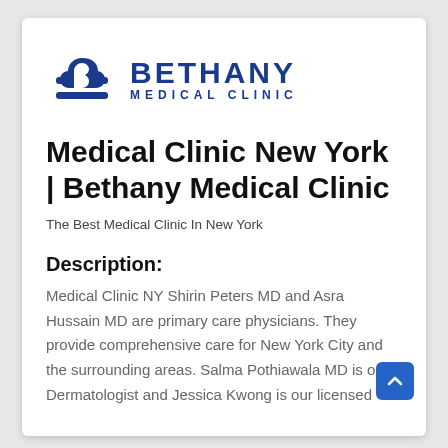[Figure (logo): Bethany Medical Clinic logo with stylized B/cross icon in dark blue and text BETHANY MEDICAL CLINIC]
Medical Clinic New York | Bethany Medical Clinic
The Best Medical Clinic In New York
Description:
Medical Clinic NY Shirin Peters MD and Asra Hussain MD are primary care physicians. They provide comprehensive care for New York City and the surrounding areas. Salma Pothiawala MD is our Dermatologist and Jessica Kwong is our licensed